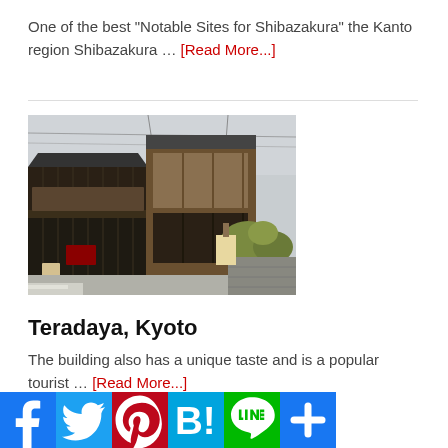One of the best "Notable Sites for Shibazakura" the Kanto region Shibazakura … [Read More...]
[Figure (photo): Photo of Teradaya, a traditional Japanese wooden inn/building in Kyoto, two stories tall with dark wooden exterior, balcony, and greenery nearby on a street corner.]
Teradaya, Kyoto
The building also has a unique taste and is a popular tourist … [Read More...]
[Figure (infographic): Social sharing buttons: Facebook, Twitter, Pinterest, Hatena Bookmark, LINE, Plus]